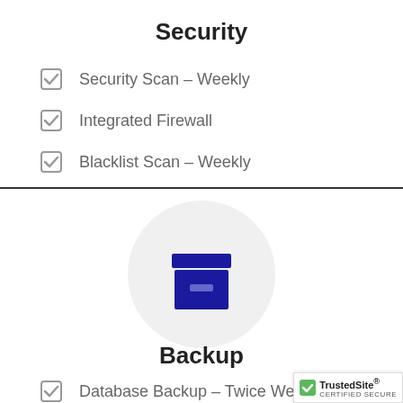Security
Security Scan – Weekly
Integrated Firewall
Blacklist Scan – Weekly
[Figure (illustration): Archive/backup box icon (dark blue) inside a light gray circle]
Backup
Database Backup – Twice Weekly
File System Backup – Twice Weekly
8 Backups (30 Days) Stored Securely